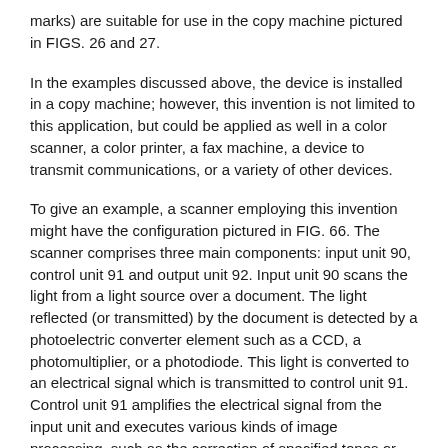marks) are suitable for use in the copy machine pictured in FIGS. 26 and 27.
In the examples discussed above, the device is installed in a copy machine; however, this invention is not limited to this application, but could be applied as well in a color scanner, a color printer, a fax machine, a device to transmit communications, or a variety of other devices.
To give an example, a scanner employing this invention might have the configuration pictured in FIG. 66. The scanner comprises three main components: input unit 90, control unit 91 and output unit 92. Input unit 90 scans the light from a light source over a document. The light reflected (or transmitted) by the document is detected by a photoelectric converter element such as a CCD, a photomultiplier, or a photodiode. This light is converted to an electrical signal which is transmitted to control unit 91. Control unit 91 amplifies the electrical signal from the input unit and executes various kinds of image processing, such as the correction of specified tones or contour enhancement, and transmits the corrected signal to output unit 92. Output unit 92 transforms the data as needed,